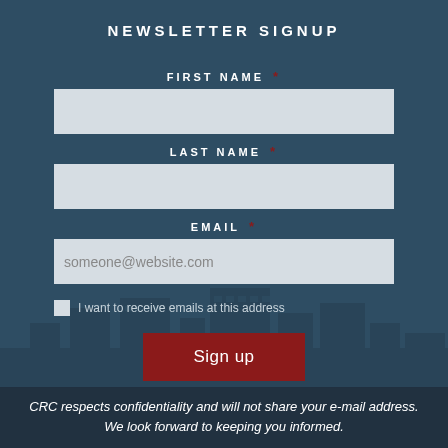NEWSLETTER SIGNUP
FIRST NAME *
LAST NAME *
EMAIL *
someone@website.com
I want to receive emails at this address
Sign up
CRC respects confidentiality and will not share your e-mail address. We look forward to keeping you informed.